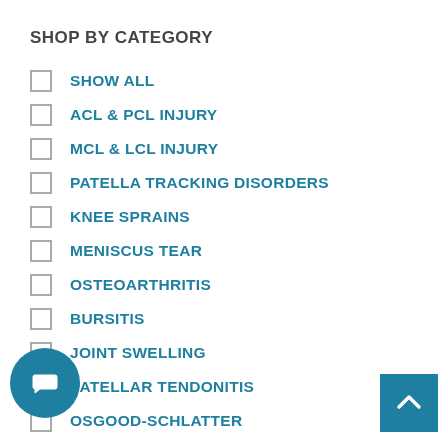SHOP BY CATEGORY
SHOW ALL
ACL & PCL INJURY
MCL & LCL INJURY
PATELLA TRACKING DISORDERS
KNEE SPRAINS
MENISCUS TEAR
OSTEOARTHRITIS
BURSITIS
JOINT SWELLING
PATELLAR TENDONITIS
OSGOOD-SCHLATTER